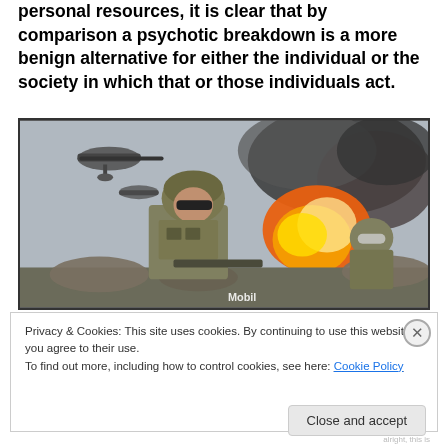personal resources, it is clear that by comparison a psychotic breakdown is a more benign alternative for either the individual or the society in which that or those individuals act.
[Figure (photo): A soldier in camouflage gear and helmet stands in the foreground against a backdrop of a large explosion with orange flames and black smoke. Military helicopters are visible in the sky. Other soldiers are visible to the right. A 'Mobil' logo watermark is visible on the image.]
Privacy & Cookies: This site uses cookies. By continuing to use this website, you agree to their use.
To find out more, including how to control cookies, see here: Cookie Policy
Close and accept